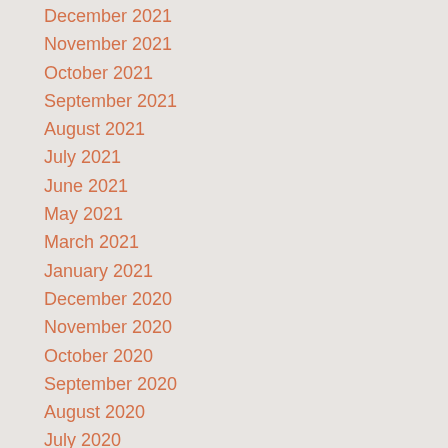December 2021
November 2021
October 2021
September 2021
August 2021
July 2021
June 2021
May 2021
March 2021
January 2021
December 2020
November 2020
October 2020
September 2020
August 2020
July 2020
June 2020
May 2020
April 2020
March 2020